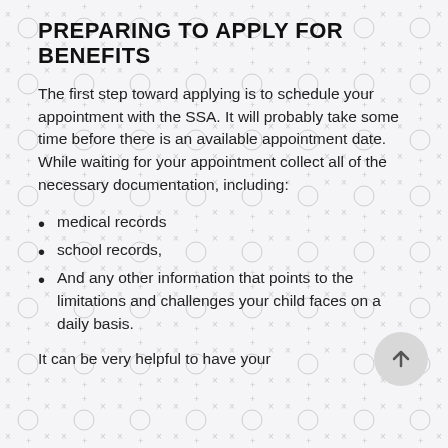PREPARING TO APPLY FOR BENEFITS
The first step toward applying is to schedule your appointment with the SSA. It will probably take some time before there is an available appointment date. While waiting for your appointment collect all of the necessary documentation, including:
medical records
school records,
And any other information that points to the limitations and challenges your child faces on a daily basis.
It can be very helpful to have your